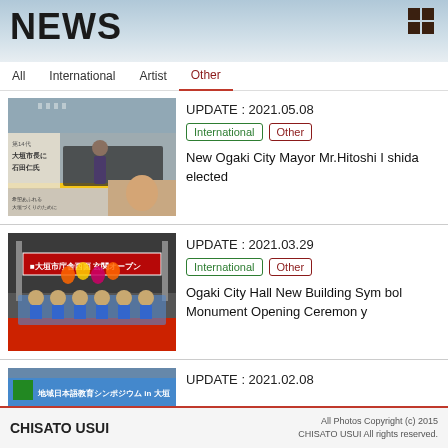NEWS
All  International  Artist  Other
[Figure (photo): Photo of 第14代 大垣市長に石田仁氏 with group of people in formal attire at station]
UPDATE : 2021.05.08
International | Other
New Ogaki City Mayor Mr.Hitoshi Ishida elected
[Figure (photo): Photo of 大垣市庁舎西面玄関オープン ceremony with children in blue shirts and adults at entrance with colorful balloons]
UPDATE : 2021.03.29
International | Other
Ogaki City Hall New Building Symbol Monument Opening Ceremony
[Figure (photo): Partially visible photo of 地域日本語教育シンポジウム in 大垣 banner]
UPDATE : 2021.02.08
CHISATO USUI  All Photos Copyright (c) 2015 CHISATO USUI All rights reserved.